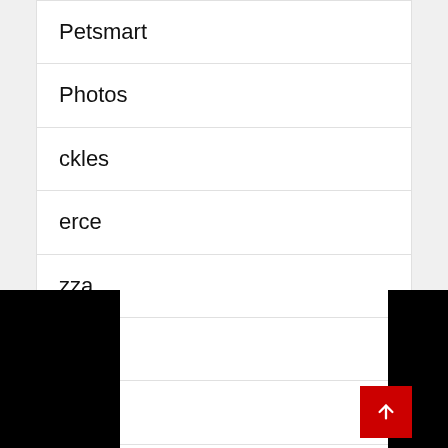Petsmart
Photos
ckles
erce
zza
an
Plant
Platters